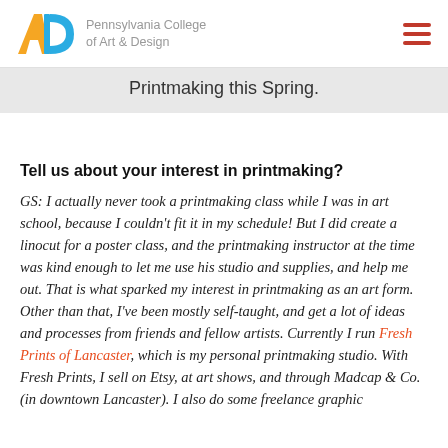[Figure (logo): Pennsylvania College of Art & Design logo with stylized A and D letters in gold and blue, with college name in gray text]
Printmaking this Spring.
Tell us about your interest in printmaking?
GS: I actually never took a printmaking class while I was in art school, because I couldn't fit it in my schedule! But I did create a linocut for a poster class, and the printmaking instructor at the time was kind enough to let me use his studio and supplies, and help me out. That is what sparked my interest in printmaking as an art form. Other than that, I've been mostly self-taught, and get a lot of ideas and processes from friends and fellow artists. Currently I run Fresh Prints of Lancaster, which is my personal printmaking studio. With Fresh Prints, I sell on Etsy, at art shows, and through Madcap & Co. (in downtown Lancaster). I also do some freelance graphic